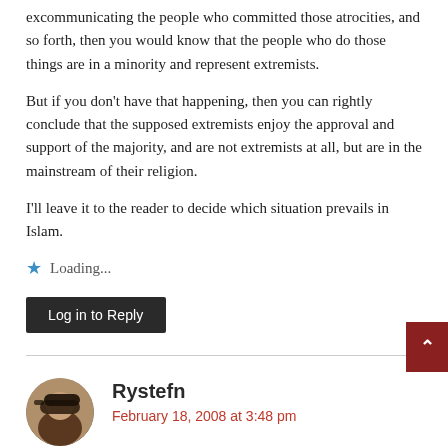excommunicating the people who committed those atrocities, and so forth, then you would know that the people who do those things are in a minority and represent extremists.
But if you don't have that happening, then you can rightly conclude that the supposed extremists enjoy the approval and support of the majority, and are not extremists at all, but are in the mainstream of their religion.
I'll leave it to the reader to decide which situation prevails in Islam.
★ Loading...
Log in to Reply
Rystefn
February 18, 2008 at 3:48 pm